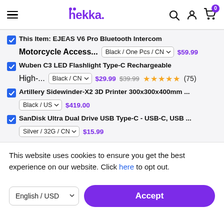hekka.
This Item: EJEAS V6 Pro Bluetooth Intercom Motorcycle Access... Black / One Pcs / CN $59.99
Wuben C3 LED Flashlight Type-C Rechargeable High-... Black / CN $29.99 $39.99 ★★★★★ (75)
Artillery Sidewinder-X2 3D Printer 300x300x400mm ... Black / US $419.00
SanDisk Ultra Dual Drive USB Type-C - USB-C, USB ... Silver / 32G / CN $15.99
This website uses cookies to ensure you get the best experience on our website. Click here to opt out.
English / USD  Accept